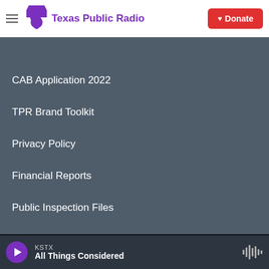Texas Public Radio — Donate
CAB Application 2022
TPR Brand Toolkit
Privacy Policy
Financial Reports
Public Inspection Files
FCC Applications
Diversity Statement
KSTX — All Things Considered